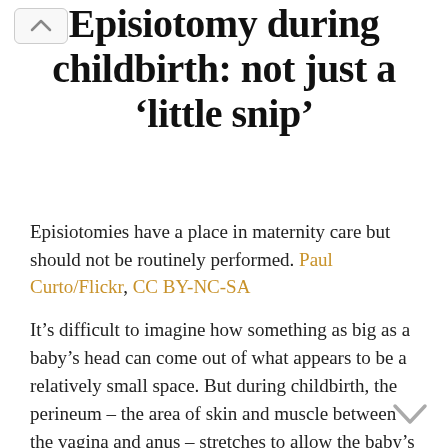Episiotomy during childbirth: not just a ‘little snip’
Episiotomies have a place in maternity care but should not be routinely performed. Paul Curto/Flickr, CC BY-NC-SA
It’s difficult to imagine how something as big as a baby’s head can come out of what appears to be a relatively small space. But during childbirth, the perineum – the area of skin and muscle between the vagina and anus – stretches to allow the baby’s head through.